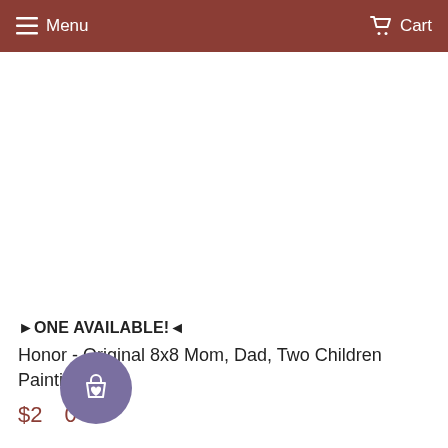Menu  Cart
►ONE AVAILABLE!◄
Honor - Original 8x8 Mom, Dad, Two Children Painting
$200
[Figure (illustration): Purple circular floating action button with a shopping bag and heart icon]